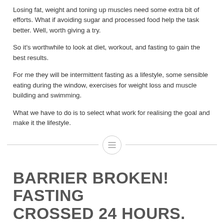Losing fat, weight and toning up muscles need some extra bit of efforts. What if avoiding sugar and processed food help the task better. Well, worth giving a try.
So it’s worthwhile to look at diet, workout, and fasting to gain the best results.
For me they will be intermittent fasting as a lifestyle, some sensible eating during the window, exercises for weight loss and muscle building and swimming.
What we have to do is to select what work for realising the goal and make it the lifestyle.
[Figure (illustration): Horizontal divider with a small circle icon containing three horizontal lines (menu/list icon) centered between two lines]
BARRIER BROKEN! FASTING CROSSED 24 HOURS.